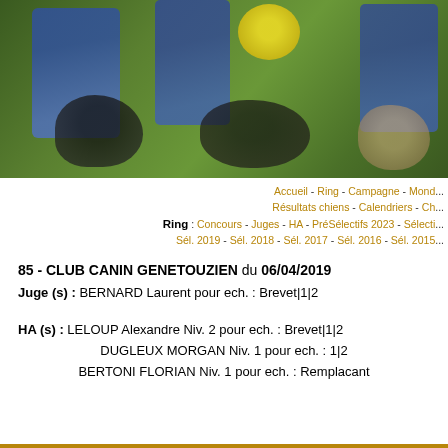[Figure (photo): Blurred/pixelated photo of people and a dog on a green grass field, dog sport scene]
Accueil - Ring - Campagne - Mond... Résultats chiens - Calendriers - Ch... Ring : Concours - Juges - HA - PréSélectifs 2023 - Sélecti... Sél. 2019 - Sél. 2018 - Sél. 2017 - Sél. 2016 - Sél. 2015...
85 - CLUB CANIN GENETOUZIEN du 06/04/2019
Juge (s) : BERNARD Laurent pour ech. : Brevet|1|2
HA (s) : LELOUP Alexandre Niv. 2 pour ech. : Brevet|1|2
DUGLEUX MORGAN Niv. 1 pour ech. : 1|2
BERTONI FLORIAN Niv. 1 pour ech. : Remplacant